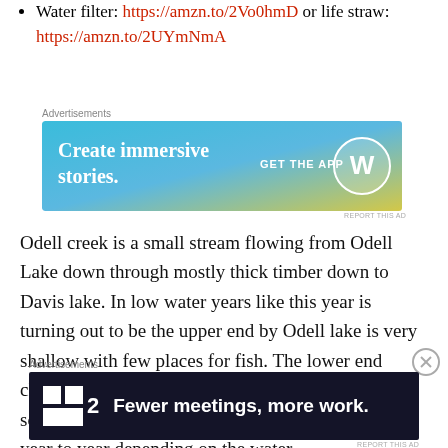Water filter: https://amzn.to/2Vo0hmD or life straw: https://amzn.to/2UYmNmA
[Figure (other): WordPress advertisement banner: 'Create immersive stories. GET THE APP' with WordPress logo on blue-to-yellow gradient background]
Odell creek is a small stream flowing from Odell Lake down through mostly thick timber down to Davis lake. In low water years like this year is turning out to be the upper end by Odell lake is very shallow with few places for fish. The lower end closer to Davis lake picks up some water and has some decent rainbow trout fishing. The size varies year to year depending on the water...
[Figure (other): Dark advertisement banner: '2 Fewer meetings, more work.' on dark navy background with a small icon]